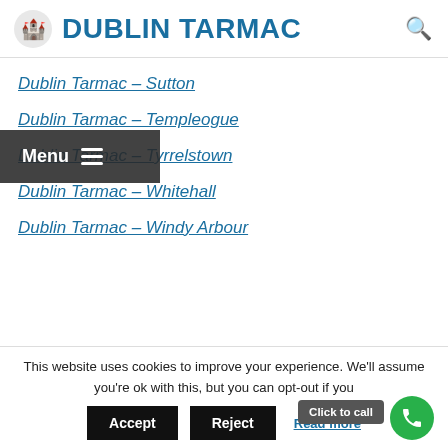DUBLIN TARMAC
Dublin Tarmac – Sutton
Dublin Tarmac – Templeogue
Dublin Tarmac – Tyrrelstown
Dublin Tarmac – Whitehall
Dublin Tarmac – Windy Arbour
This website uses cookies to improve your experience. We'll assume you're ok with this, but you can opt-out if you wish.
Accept | Reject | Read more | Click to call